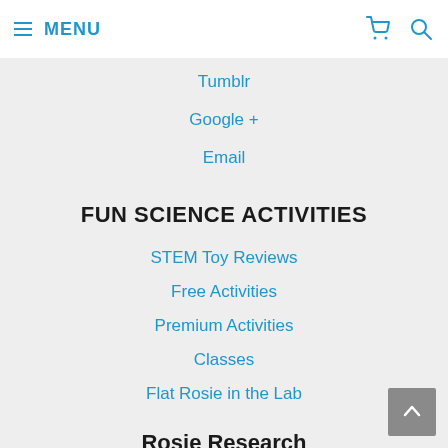≡ MENU
Tumblr
Google +
Email
FUN SCIENCE ACTIVITIES
STEM Toy Reviews
Free Activities
Premium Activities
Classes
Flat Rosie in the Lab
Rosie Research